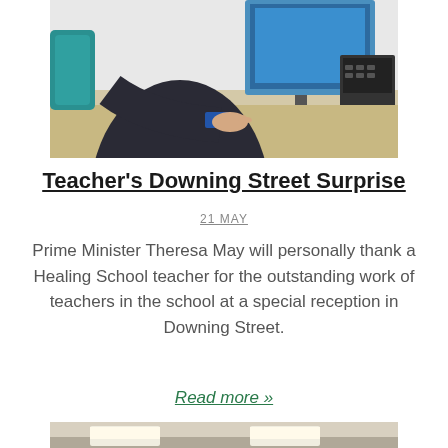[Figure (photo): Person in dark suit sitting at a desk using a computer keyboard, with a monitor and office phone in the background, teal chair visible.]
Teacher's Downing Street Surprise
21 MAY
Prime Minister Theresa May will personally thank a Healing School teacher for the outstanding work of teachers in the school at a special reception in Downing Street.
Read more »
[Figure (photo): Partial view of a room interior, ceiling with recessed lighting panels visible.]